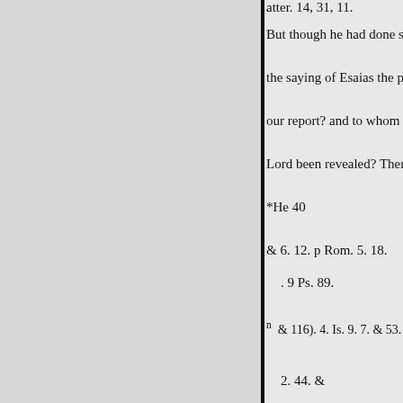atter. 14, 31, 11.
But though he had done so many
the saying of Esaias the prophet
our report? and to whom hath the
Lord been revealed? Therefore
*He 40
& 6. 12. p Rom. 5. 18.
. 9 Ps. 89.
& 116). 4. Is. 9. 7. & 53. 8.
2. 44. &
Mic. 4. 7. r Jer. 13. 16.
11.